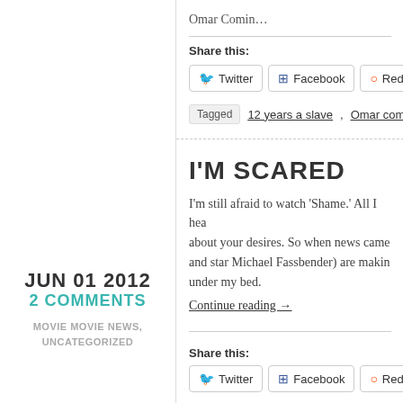Omar Comin…
Share this:
Tagged  12 years a slave , Omar comin…
JUN 01 2012
2 COMMENTS
MOVIE MOVIE NEWS, UNCATEGORIZED
I'M SCARED
I'm still afraid to watch 'Shame.' All I hear about your desires. So when news came and star Michael Fassbender) are making under my bed.
Continue reading →
Share this: